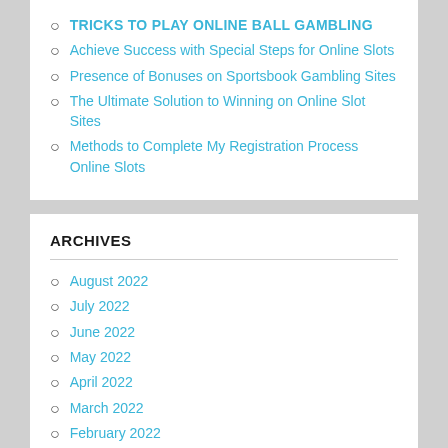TRICKS TO PLAY ONLINE BALL GAMBLING
Achieve Success with Special Steps for Online Slots
Presence of Bonuses on Sportsbook Gambling Sites
The Ultimate Solution to Winning on Online Slot Sites
Methods to Complete My Registration Process Online Slots
ARCHIVES
August 2022
July 2022
June 2022
May 2022
April 2022
March 2022
February 2022
January 2022
December 2021